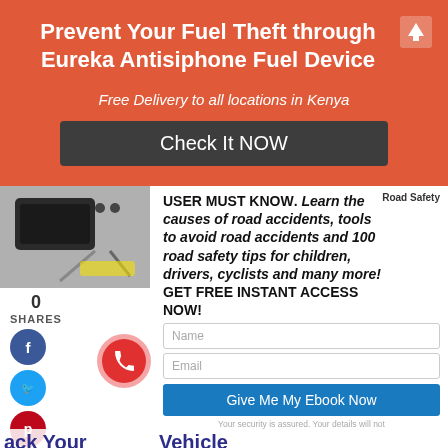Prevent Your Fuel Theft through Eureka Antisiphone Fuel Device
Free Delivery to all locations in Kenya
Check It NOW
[Figure (photo): Product photo of Eureka Antisiphone Fuel Device (black electronic box with cables)]
0 SHARES
Road Safety
USER MUST KNOW. Learn the causes of road accidents, tools to avoid road accidents and 100 road safety tips for children, drivers, cyclists and many more! GET FREE INSTANT ACCESS NOW!
Name
Email
Give Me My Ebook Now
Your security is assured. Your details will not...
ack Your Vehicle